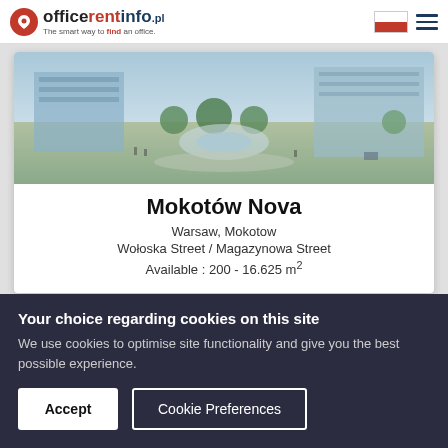officerentinfo.pl — The smart way to find an office.
[Figure (photo): Aerial/eye-level render of Mokotów Nova office complex with plaza, fountain, and trees]
Mokotów Nova
Warsaw, Mokotow
Wołoska Street / Magazynowa Street
Available : 200 - 16.625 m²
[Figure (photo): Partial view of second office building listing card]
Your choice regarding cookies on this site
We use cookies to optimise site functionality and give you the best possible experience.
Accept
Cookie Preferences